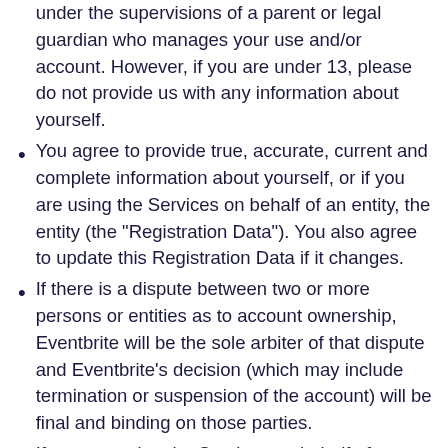under the supervisions of a parent or legal guardian who manages your use and/or account. However, if you are under 13, please do not provide us with any information about yourself.
You agree to provide true, accurate, current and complete information about yourself, or if you are using the Services on behalf of an entity, the entity (the "Registration Data"). You also agree to update this Registration Data if it changes.
If there is a dispute between two or more persons or entities as to account ownership, Eventbrite will be the sole arbiter of that dispute and Eventbrite's decision (which may include termination or suspension of the account) will be final and binding on those parties.
If you are using the Services on behalf of a company or other entity, you represent and warrant that you have the authority to legally bind that entity and grant Eventbrite all permissions and licences provided in these Terms.
We may provide you the ability to implement certain permission within your account to third parties including, "sub-users," "sub-accounts," or other